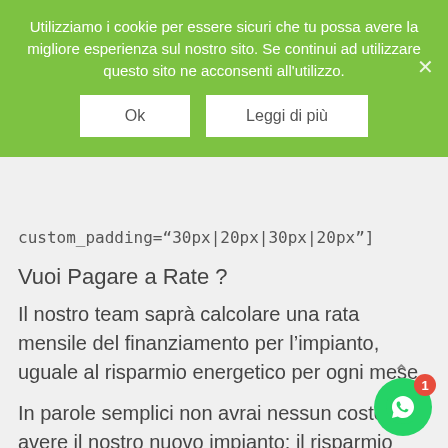Utilizziamo i cookie per essere sicuri che tu possa avere la migliore esperienza sul nostro sito. Se continui ad utilizzare questo sito ne acconsenti all'utilizzo.
Ok | Leggi di più
custom_padding="30px|20px|30px|20px"]
Vuoi Pagare a Rate ?
Il nostro team saprà calcolare una rata mensile del finanziamento per l'impianto, uguale al risparmio energetico per ogni mese.
In parole semplici non avrai nessun costo per avere il nostro nuovo impianto: il risparmio garantito ogni mese sarà uguale alla rata !